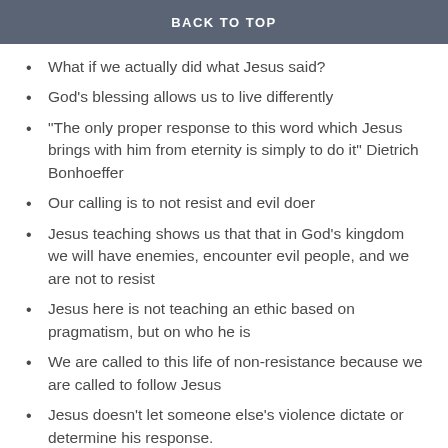BACK TO TOP
What if we actually did what Jesus said?
God's blessing allows us to live differently
“The only proper response to this word which Jesus brings with him from eternity is simply to do it” Dietrich Bonhoeffer
Our calling is to not resist and evil doer
Jesus teaching shows us that that in God’s kingdom we will have enemies, encounter evil people, and we are not to resist
Jesus here is not teaching an ethic based on pragmatism, but on who he is
We are called to this life of non-resistance because we are called to follow Jesus
Jesus doesn’t let someone else’s violence dictate or determine his response.
Not-resisting evil doesn’t mean accepting evil either
“Jesus does not promise that if we turn the other check we will avoid being hit again. Non-retaliation is not a strategy to get what we want by other means. Rather